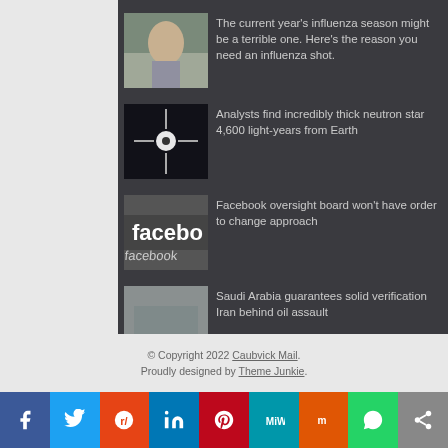The current year’s influenza season might be a terrible one. Here’s the reason you need an influenza shot.
Analysts find incredibly thick neutron star 4,600 light-years from Earth
Facebook oversight board won’t have order to change approach
Saudi Arabia guarantees solid verification Iran behind oil assault
What Is The coming times? Welcome To The Net Generation : American Tennis
© Copyright 2022 Caubvick Mail. Proudly designed by Theme Junkie.